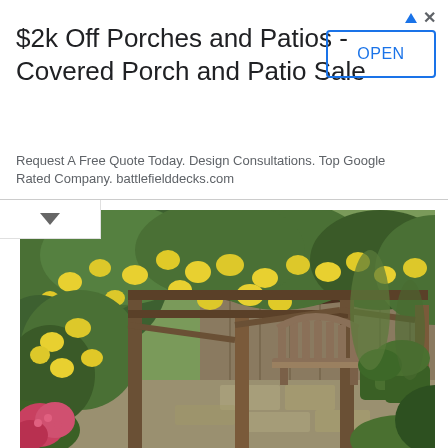$2k Off Porches and Patios - Covered Porch and Patio Sale
Request A Free Quote Today. Design Consultations. Top Google Rated Company. battlefielddecks.com
[Figure (photo): Garden patio scene with a lemon tree laden with yellow lemons arching over a wooden pergola structure, with a wooden bench visible in the background, surrounded by green shrubs, hedges, and flowering plants on a stone pathway.]